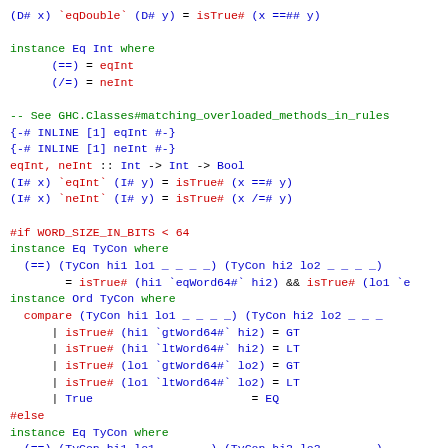Haskell source code showing Eq and Ord instances for Int and TyCon types, with inline pragmas and conditional compilation directives.